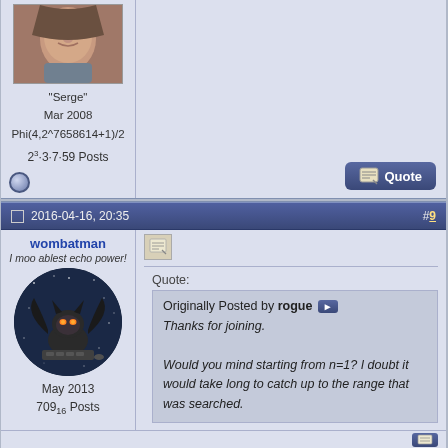"Serge"
Mar 2008
Phi(4,2^7658614+1)/2
2^3·3·7·59 Posts
[Figure (photo): User avatar photo showing a person's face]
2016-04-16, 20:35  #9
wombatman
I moo ablest echo power!
[Figure (illustration): Circular avatar image of a cartoon bat character on dark blue background]
May 2013
709_16 Posts
Quote:
Originally Posted by rogue ▶ Thanks for joining.

Would you mind starting from n=1? I doubt it would take long to catch up to the range that was searched.
I'll let the current search (running to P=1e12) finish and then I'll run the range from n=1 up to where I started already.